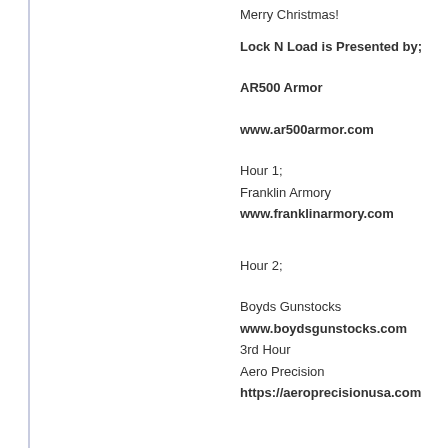Merry Christmas!
Lock N Load is Presented by;
AR500 Armor
www.ar500armor.com
Hour 1;
Franklin Armory
www.franklinarmory.com
Hour 2;
Boyds Gunstocks
www.boydsgunstocks.com
3rd Hour
Aero Precision
https://aeroprecisionusa.com